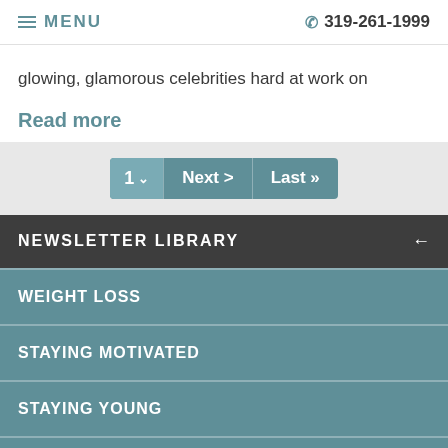MENU  319-261-1999
glowing, glamorous celebrities hard at work on
Read more
1  Next >  Last »
NEWSLETTER LIBRARY
WEIGHT LOSS
STAYING MOTIVATED
STAYING YOUNG
LIFE-WORK BALANCE